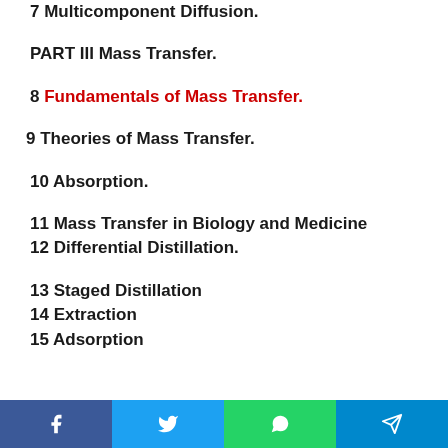7 Multicomponent Diffusion.
PART III Mass Transfer.
8 Fundamentals of Mass Transfer.
9 Theories of Mass Transfer.
10 Absorption.
11 Mass Transfer in Biology and Medicine
12 Differential Distillation.
13 Staged Distillation
14 Extraction
15 Adsorption